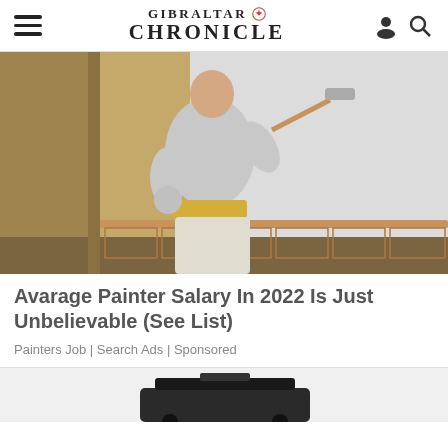GIBRALTAR CHRONICLE
[Figure (photo): A bald man in a grey t-shirt painting a wall white with a paint roller, viewed from behind, in a room with tan/gold painted walls and a wooden chair rail.]
Avarage Painter Salary In 2022 Is Just Unbelievable (See List)
Painters Job | Search Ads | Sponsored
[Figure (photo): Partial view of a dark object, possibly luggage or equipment, on a light grey background — bottom of page ad strip.]